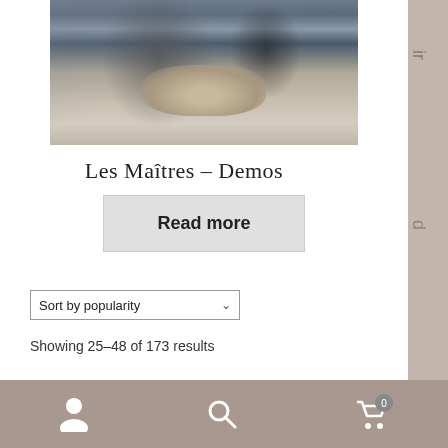[Figure (photo): Partial photo showing two people, one holding what appears to be a feather or paper, cropped to show torso/hands area against a muted background]
Les Maîtres – Demos
Read more
Sort by popularity
Showing 25–48 of 173 results